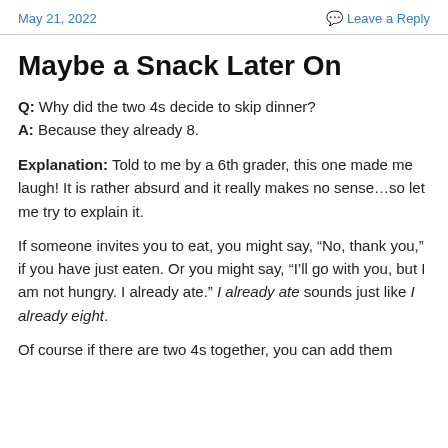May 21, 2022   Leave a Reply
Maybe a Snack Later On
Q: Why did the two 4s decide to skip dinner?
A: Because they already 8.
Explanation: Told to me by a 6th grader, this one made me laugh!  It is rather absurd and it really makes no sense…so let me try to explain it.
If someone invites you to eat, you might say, “No, thank you,” if you have just eaten.  Or you might say, “I’ll go with you, but I am not hungry.  I already ate.”  I already ate sounds just like I already eight.
Of course if there are two 4s together, you can add them